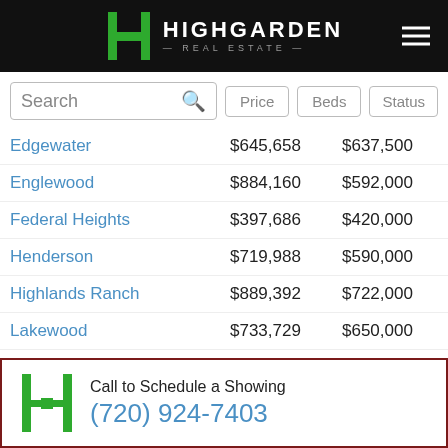Highgarden Real Estate
Search | Price | Beds | Status
| City | Avg Price | Median Price |
| --- | --- | --- |
| Edgewater | $645,658 | $637,500 |
| Englewood | $884,160 | $592,000 |
| Federal Heights | $397,686 | $420,000 |
| Henderson | $719,988 | $590,000 |
| Highlands Ranch | $889,392 | $722,000 |
| Lakewood | $733,729 | $650,000 |
| Littleton | $921,281 | $725,000 |
| Lone Tree | $1,319,511 | $1,167,000 |
| Northglenn | $514,639 | $499,900 |
| Parker | $927,361 | $736,386 |
Call to Schedule a Showing
(720) 924-7403